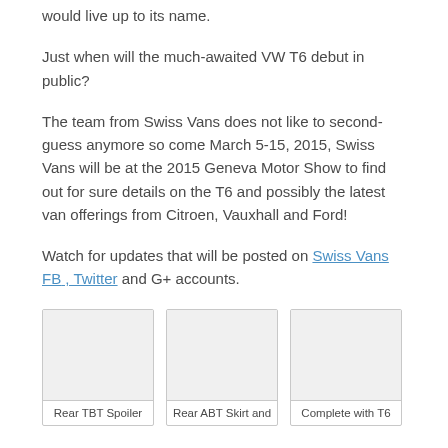would live up to its name.
Just when will the much-awaited VW T6 debut in public?
The team from Swiss Vans does not like to second-guess anymore so come March 5-15, 2015, Swiss Vans will be at the 2015 Geneva Motor Show to find out for sure details on the T6 and possibly the latest van offerings from Citroen, Vauxhall and Ford!
Watch for updates that will be posted on Swiss Vans FB , Twitter and G+ accounts.
[Figure (photo): Rear TBT Spoiler image placeholder]
Rear TBT Spoiler
[Figure (photo): Rear ABT Skirt and image placeholder]
Rear ABT Skirt and
[Figure (photo): Complete with T6 image placeholder]
Complete with T6